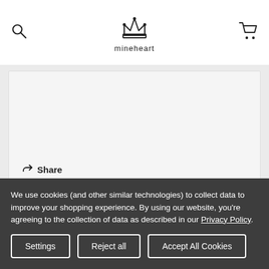mineheart
[Figure (other): Review card content area (empty space above share/helpful row)]
Share
Was this helpful? 0 0
We use cookies (and other similar technologies) to collect data to improve your shopping experience. By using our website, you're agreeing to the collection of data as described in our Privacy Policy.
Settings | Reject all | Accept All Cookies